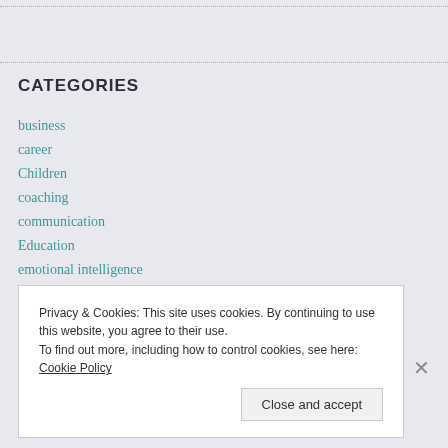CATEGORIES
business
career
Children
coaching
communication
Education
emotional intelligence
employee engagement
human resources
leadership
Privacy & Cookies: This site uses cookies. By continuing to use this website, you agree to their use. To find out more, including how to control cookies, see here: Cookie Policy
Close and accept